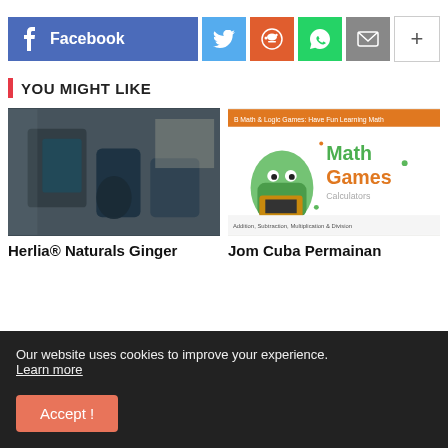[Figure (infographic): Social sharing buttons: Facebook (large), Twitter, Reddit, WhatsApp, Email, Plus]
YOU MIGHT LIKE
[Figure (photo): Photo of Herlia Naturals Ginger skincare products on a textured background]
[Figure (screenshot): Screenshot of Math Games website showing Math Games and Calculators]
Herlia® Naturals Ginger
Jom Cuba Permainan
Our website uses cookies to improve your experience. Learn more
Accept !